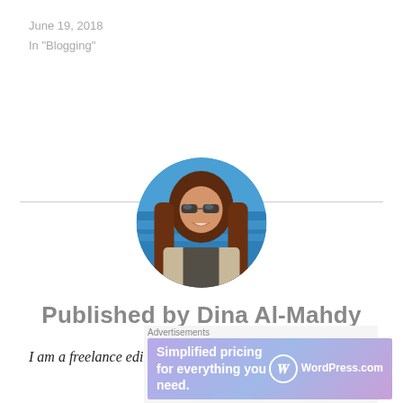June 19, 2018
In "Blogging"
[Figure (photo): Circular profile photo of Dina Al-Mahdy, a woman with long brown hair wearing sunglasses, with a blue water/sea background]
Published by Dina Al-Mahdy
I am a freelance editor, translator and writer at:
[Figure (screenshot): Advertisement banner: 'Simplified pricing for everything you need.' with WordPress.com logo on gradient purple/blue background]